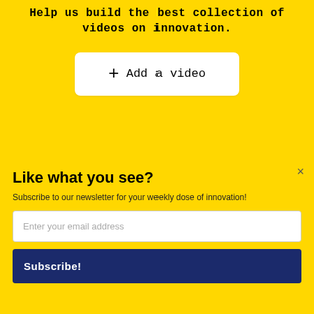Help us build the best collection of videos on innovation.
+ Add a video
18.
[Figure (logo): POWERED BY SUMO badge with crown icon]
×
Like what you see?
Subscribe to our newsletter for your weekly dose of innovation!
Enter your email address
Subscribe!